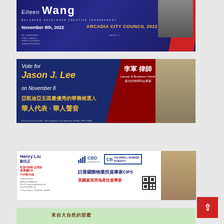[Figure (illustration): Political campaign advertisement for Eileen Wang, Arcadia City Council 2022 District 1. Blue background with red accent, white text. 'BALANCED DEVELOPED CREATIVE TRANSPARENT', 'November 8th, 2022', 'ARCADIA CITY COUNCIL 2022', commitments listed including public safety, homelessness, transportation.]
[Figure (illustration): Political campaign advertisement for Jason J. Lee, Vote for Jason J. Lee on November 8. Blue and red background with Chinese text: 李軍律師, Lawyer & Business Owner, 成功的律師和企業家, 亞凱迪亞五區最優秀的華裔候選人, 華人代表·華人聲音. Photo of candidate in suit.]
[Figure (illustration): Real estate advertisement for Henry Liu 劉元正, CBD Investment Inc., Coldwell Banker Dynasty. Phone 626-688-2268. 全美國CB TOP前25名. 註冊國際物業投資專家CIPS. 美國資深房地產投資專家. Address: 77 W Las Tunas Dr. #130, Arcadia, CA 91007.]
[Figure (illustration): Advertisement with green background showing Chinese text 來自大自然的甜蜜 (Sweetness from nature) with illustration of a girl and product packaging.]